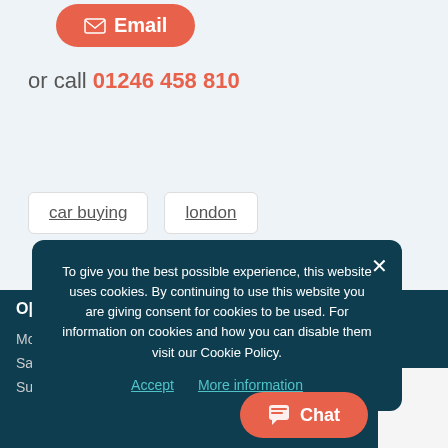[Figure (other): Orange rounded Email button with envelope icon]
or call 01246 458 810
car buying
london
To give you the best possible experience, this website uses cookies. By continuing to use this website you are giving consent for cookies to be used. For information on cookies and how you can disable them visit our Cookie Policy.
Accept   More information
O|
Mo
Sa
Sunday
[Figure (other): Orange chat button with speech bubble icon]